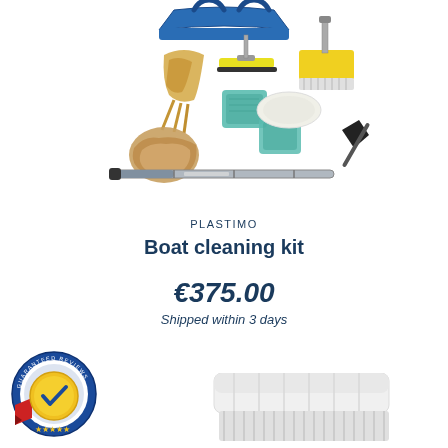[Figure (photo): Plastimo boat cleaning kit product photo showing mop, squeegee, sponges, brushes, scrubbing pads, telescopic pole, and a blue carry bag]
PLASTIMO
Boat cleaning kit
€375.00
Shipped within 3 days
[Figure (logo): Guaranteed Reviews Company badge - circular badge with blue and red/gold colors and a checkmark]
[Figure (photo): Bottom portion of a second product - white brush head visible at bottom of page]